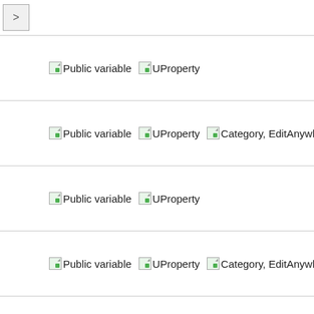[Figure (screenshot): Navigation arrow button (>) at the top left of a tree/list UI panel]
Public variable UProperty
Public variable UProperty Category, EditAnywhere
Public variable UProperty
Public variable UProperty Category, EditAnywhere, M
Public variable UProperty (partial, cut off)